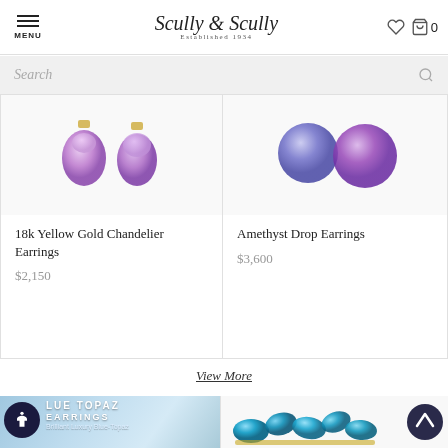MENU | Scully & Scully Established 1934 | [heart icon] [cart] 0
Search
[Figure (photo): 18k Yellow Gold Chandelier Earrings product photo showing two pear-shaped lavender/purple gemstones with gold settings]
18k Yellow Gold Chandelier Earrings
$2,150
[Figure (photo): Amethyst Drop Earrings product photo showing two round purple/violet gemstones]
Amethyst Drop Earrings
$3,600
View More
[Figure (photo): Blue Topaz Earrings section with accessibility icon button, text overlay 'BLUE TOPAZ EARRINGS' and 'Brilliant Luxury Blue-Topaz' on icy blue gemstone background]
[Figure (photo): Blue topaz cluster earrings product photo showing brilliant blue gemstones in gold settings, with scroll-to-top button]